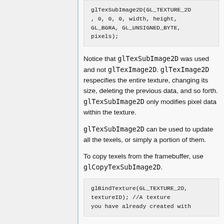glTexSubImage2D(GL_TEXTURE_2D, 0, 0, 0, width, height, GL_BGRA, GL_UNSIGNED_BYTE, pixels);
Notice that glTexSubImage2D was used and not glTexImage2D. glTexImage2D respecifies the entire texture, changing its size, deleting the previous data, and so forth. glTexSubImage2D only modifies pixel data within the texture.
glTexSubImage2D can be used to update all the texels, or simply a portion of them.
To copy texels from the framebuffer, use glCopyTexSubImage2D.
glBindTexture(GL_TEXTURE_2D, textureID);    //A texture you have already created with